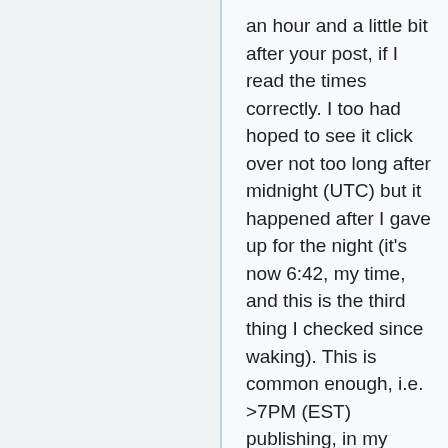an hour and a little bit after your post, if I read the times correctly. I too had hoped to see it click over not too long after midnight (UTC) but it happened after I gave up for the night (it's now 6:42, my time, and this is the third thing I checked since waking). This is common enough, i.e. >7PM (EST) publishing, in my experience, though it's also been far earlier and a little later. 162.158.159.52 06:46, 15 December 2020 (UTC)
Okay the bit about Google in the title text is the part that REALLY got me. Anyone else?